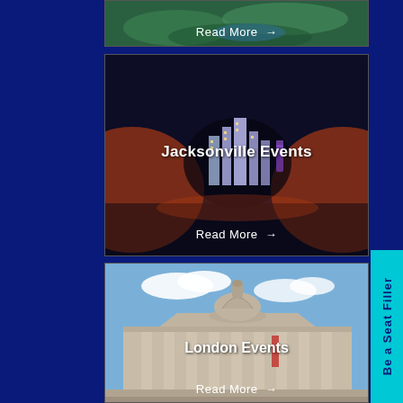[Figure (photo): Partial aerial or landscape photo card with 'Read More →' link at bottom]
Read More →
[Figure (photo): Jacksonville Events card with stylized city skyline image and orange/dark background]
Jacksonville Events
Read More →
[Figure (photo): London Events card showing a neoclassical building with dome and columns]
London Events
Read More →
Be a Seat Filler